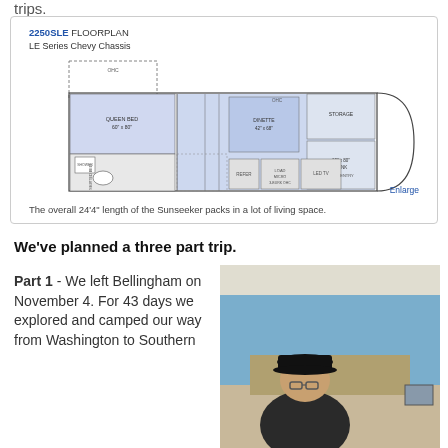trips.
[Figure (engineering-diagram): 2250SLE floorplan diagram for LE Series Chevy Chassis showing queen bed, dinette, storage, bunk, bathroom, refer, microwave, and LED TV layout]
The overall 24'4" length of the Sunseeker packs in a lot of living space.
We've planned a three part trip.
Part 1 - We left Bellingham on November 4. For 43 days we explored and camped our way from Washington to Southern
[Figure (photo): Person wearing a black cap driving an RV, viewed from the passenger side, with desert highway visible through the windshield]